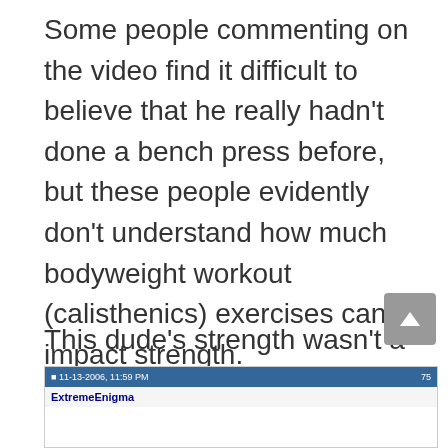Some people commenting on the video find it difficult to believe that he really hadn't done a bench press before, but these people evidently don't understand how much bodyweight workout (calisthenics) exercises can impact strength.
This dude's strength wasn't a freak occurrence for somebody who does calisthenics:
[Figure (screenshot): Forum screenshot showing a post by user ExtremeEnigma with a blue title bar showing date 11-13-2006 and post number 75]